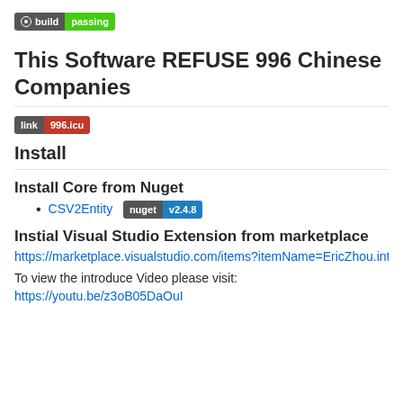[Figure (other): Build passing badge (CI status badge with dark left side showing build and green right side showing passing)]
This Software REFUSE 996 Chinese Companies
[Figure (other): Link badge: left dark gray side with 'link', right red side with '996.icu']
Install
Install Core from Nuget
CSV2Entity  nuget v2.4.8
Instial Visual Studio Extension from marketplace
https://marketplace.visualstudio.com/items?itemName=EricZhou.int
To view the introduce Video please visit:
https://youtu.be/z3oB05DaOuI